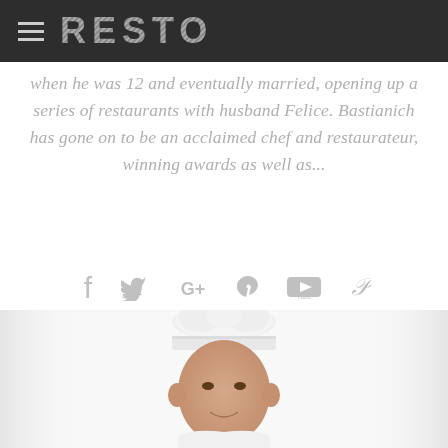RESTO
when he was 12 and eventually married, opening up a series of restaurants with husband Felice. Bastianich has gone on to be an acclaimed chef and restaurateur, winning awards as well as...
[Figure (other): Social media icons row: Facebook, Twitter, Google+, Vimeo, YouTube, Pinterest]
[Figure (photo): Photo of a chef wearing a white toque (chef hat), visible from the shoulders up, looking slightly down with a faint smile. White background.]